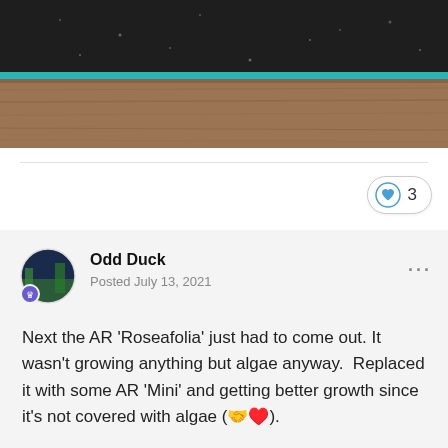[Figure (photo): Photo of an aquarium tank bottom viewed from outside, showing teal/cyan frame edge at top, dark substrate inside, sitting on a wooden surface (brown wood grain table)]
3
Odd Duck
Posted July 13, 2021
Next the AR ‘Roseafolia’ just had to come out. It wasn’t growing anything but algae anyway.  Replaced it with some AR ‘Mini’ and getting better growth since it’s not covered with algae (🤝♥️).